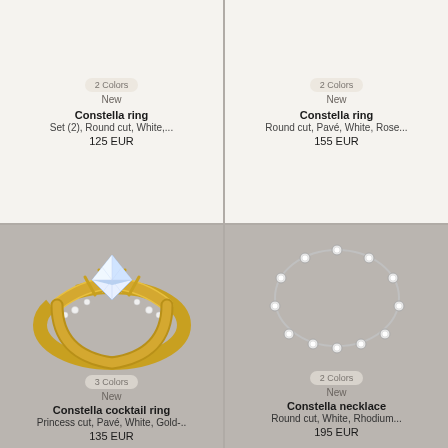2 Colors
New
Constella ring
Set (2), Round cut, White,...
125 EUR
2 Colors
New
Constella ring
Round cut, Pavé, White, Rose...
155 EUR
[Figure (photo): Gold solitaire ring with large round diamond center stone and pavé diamond band]
3 Colors
New
Constella cocktail ring
Princess cut, Pavé, White, Gold-..
135 EUR
[Figure (photo): Silver/rhodium necklace bracelet with round diamond stations]
2 Colors
New
Constella necklace
Round cut, White, Rhodium...
195 EUR